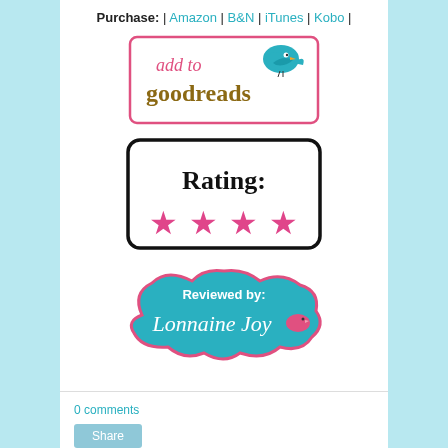Purchase: | Amazon | B&N | iTunes | Kobo |
[Figure (logo): Add to Goodreads button with pink border, cursive pink 'add to' text, brown 'goodreads' text, and a blue bird illustration]
[Figure (infographic): Rating badge with black rounded border, 'rating:' text in handwritten style, and four pink stars below]
[Figure (infographic): Reviewed by: Lonnaine Joy badge in blue cloud/banner shape with pink border and pink bird]
0 comments
Share